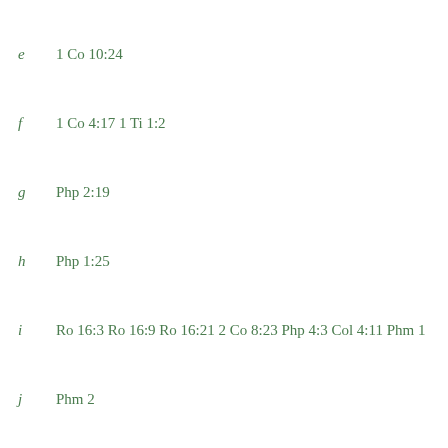e   1 Co 10:24
f   1 Co 4:17 1 Ti 1:2
g   Php 2:19
h   Php 1:25
i   Ro 16:3 Ro 16:9 Ro 16:21 2 Co 8:23 Php 4:3 Col 4:11 Phm 1
j   Phm 2
k   Php 4:18
l   Php 1:8